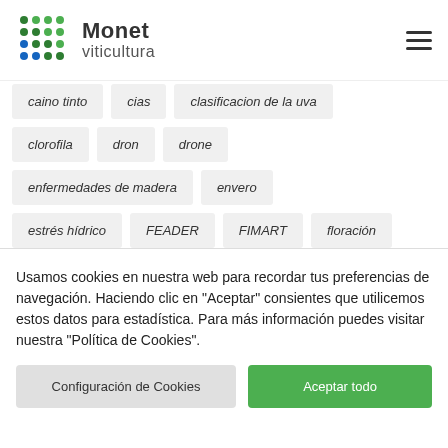Monet viticultura
caino tinto
cias
clasificacion de la uva
clorofila
dron
drone
enfermedades de madera
envero
estrés hídrico
FEADER
FIMART
floración
godello
grupo operativo
hojas
I+D
Usamos cookies en nuestra web para recordar tus preferencias de navegación. Haciendo clic en "Aceptar" consientes que utilicemos estos datos para estadística. Para más información puedes visitar nuestra "Política de Cookies".
Configuración de Cookies
Aceptar todo